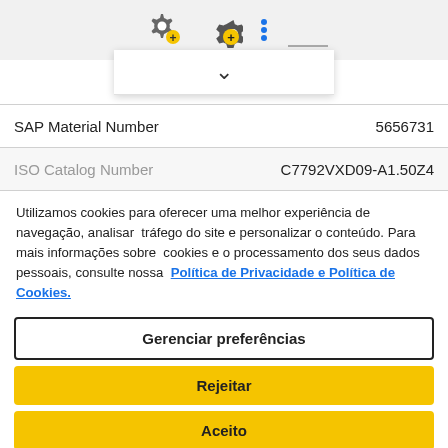[Figure (screenshot): Top bar with gear/settings icon with yellow plus badge and vertical three-dot menu icon on gray background, with a white dropdown panel showing a chevron/arrow down symbol]
| SAP Material Number | 5656731 |
| ISO Catalog Number | C7792VXD09-A1.50Z4 |
Utilizamos cookies para oferecer uma melhor experiência de navegação, analisar tráfego do site e personalizar o conteúdo. Para mais informações sobre cookies e o processamento dos seus dados pessoais, consulte nossa Política de Privacidade e Política de Cookies.
Gerenciar preferências
Rejeitar
Aceito